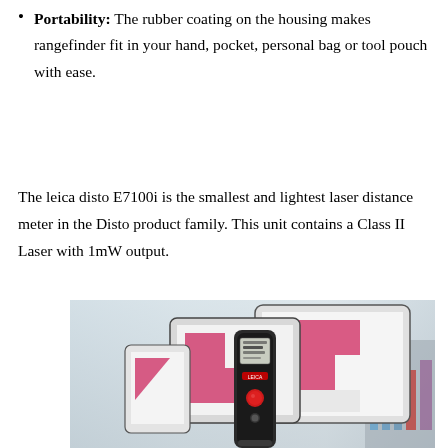Portability: The rubber coating on the housing makes rangefinder fit in your hand, pocket, personal bag or tool pouch with ease.
The leica disto E7100i is the smallest and lightest laser distance meter in the Disto product family. This unit contains a Class II Laser with 1mW output.
[Figure (photo): Photo of Leica Disto E7100i laser distance meter device in front of tablets and a smartphone, all displaying floor plan measurement apps with pink/magenta room shapes on white backgrounds. The device is black and cylindrical with a red button and small display screen.]